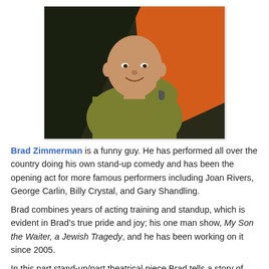[Figure (photo): A bald man in a green/olive shirt holding a microphone on a stage with an orange and dark background, performing stand-up comedy.]
Brad Zimmerman is a funny guy. He has performed all over the country doing his own stand-up comedy and has been the opening act for more famous performers including Joan Rivers, George Carlin, Billy Crystal, and Gary Shandling.
Brad combines years of acting training and standup, which is evident in Brad’s true pride and joy; his one man show, My Son the Waiter, a Jewish Tragedy, and he has been working on it since 2005.
In this part stand-up/part theatrical piece Brad tells a story of one man’s lengthy